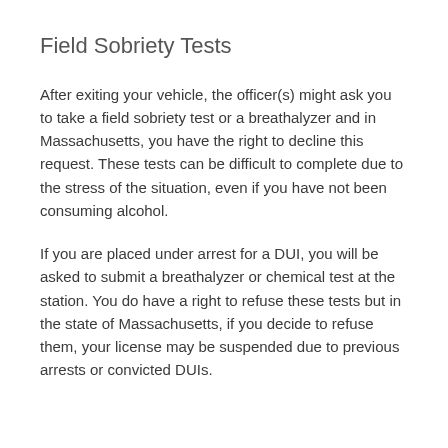Field Sobriety Tests
After exiting your vehicle, the officer(s) might ask you to take a field sobriety test or a breathalyzer and in Massachusetts, you have the right to decline this request. These tests can be difficult to complete due to the stress of the situation, even if you have not been consuming alcohol.
If you are placed under arrest for a DUI, you will be asked to submit a breathalyzer or chemical test at the station. You do have a right to refuse these tests but in the state of Massachusetts, if you decide to refuse them, your license may be suspended due to previous arrests or convicted DUIs.